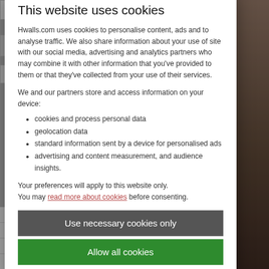| Item | Count |
| --- | --- |
| Watermelons | 45 |
Products 366
| Item | Count |
| --- | --- |
| Beer | 85 |
This website uses cookies
Hwalls.com uses cookies to personalise content, ads and to analyse traffic. We also share information about your use of site with our social media, advertising and analytics partners who may combine it with other information that you've provided to them or that they've collected from your use of their services.
We and our partners store and access information on your device:
cookies and process personal data
geolocation data
standard information sent by a device for personalised ads
advertising and content measurement, and audience insights.
Your preferences will apply to this website only.
You may read more about cookies before consenting.
Use necessary cookies only
Allow all cookies
| Item | Count |
| --- | --- |
| Forest |  |
| Grass | 35 |
| Rainbow | 110 |
| Roads and highway | 64 |